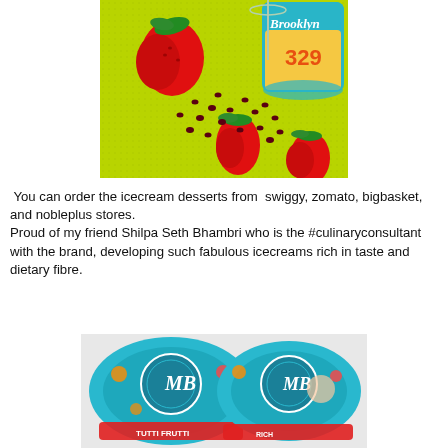[Figure (photo): Photo of strawberries, pomegranate seeds, a wine glass, and a Brooklyn ice cream container (number 329) on a green textured mat.]
You can order the icecream desserts from  swiggy, zomato, bigbasket, and nobleplus stores.
Proud of my friend Shilpa Seth Bhambri who is the #culinaryconsultant with the brand, developing such fabulous icecreams rich in taste and dietary fibre.
[Figure (photo): Photo of two Brooklyn ice cream tubs with blue lids showing the MB logo, fruits, and decorative branding, labeled 'tutti frutti' and another variety.]